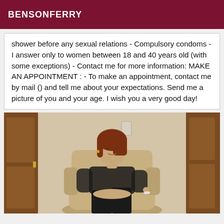BENSONFERRY
shower before any sexual relations - Compulsory condoms - I answer only to women between 18 and 40 years old (with some exceptions) - Contact me for more information: MAKE AN APPOINTMENT : - To make an appointment, contact me by mail () and tell me about your expectations. Send me a picture of you and your age. I wish you a very good day!
[Figure (photo): A woman with reddish-brown hair seated in a beige armchair, wearing a black sheer top and black lace stockings, in a room with wood-paneled walls and a door.]